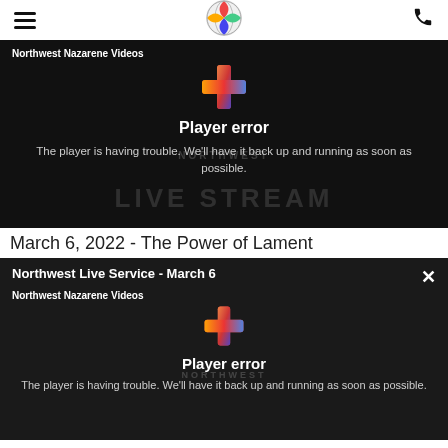Northwest Nazarene Videos — Player error — The player is having trouble. We'll have it back up and running as soon as possible.
March 6, 2022 - The Power of Lament
[Figure (screenshot): Video player error screen showing 'Northwest Live Service - March 6', 'Northwest Nazarene Videos', colorful cross logo, 'Player error', and 'The player is having trouble. We'll have it back up and running as soon as possible.']